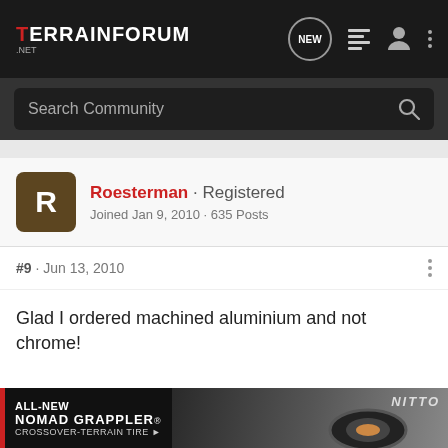TerrainForum.net — navigation bar with NEW bubble, list icon, user icon, dots menu
Search Community
Roesterman · Registered
Joined Jan 9, 2010 · 635 Posts
#9 · Jun 13, 2010
Glad I ordered machined aluminium and not chrome!
2010 Chevy Equinox <br />2LT 1SC 4cyl FWD<br />Mocha Brownsto
[Figure (advertisement): Nitto ALL-NEW NOMAD GRAPPLER CROSSOVER-TERRAIN TIRE advertisement banner with tire image]